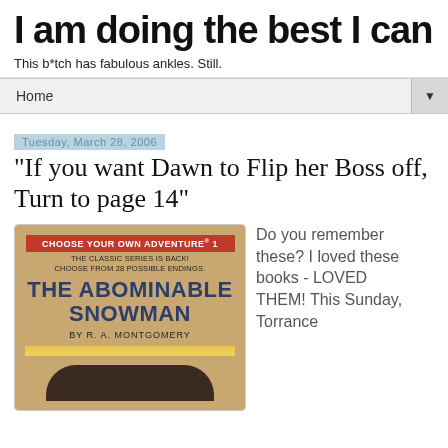I am doing the best I can
This b*tch has fabulous ankles. Still.
Home ▼
Tuesday, March 28, 2006
"If you want Dawn to Flip her Boss off, Turn to page 14"
[Figure (photo): Book cover of 'Choose Your Own Adventure #1: The Abominable Snowman' by R. A. Montgomery. Red banner at top reads CHOOSE YOUR OWN ADVENTURE 1. Below: THE CLASSIC SERIES IS BACK! CHOOSE FROM 28 POSSIBLE ENDINGS. Main title: THE ABOMINABLE SNOWMAN. Author: BY R. A. MONTGOMERY.]
Do you remember these? I loved these books - LOVED THEM! This Sunday, Torrance